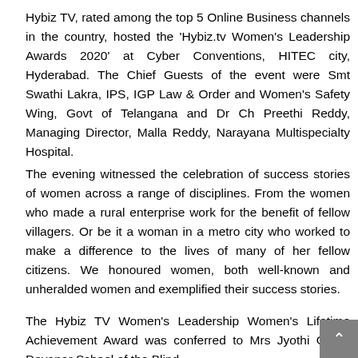Hybiz TV, rated among the top 5 Online Business channels in the country, hosted the 'Hybiz.tv Women's Leadership Awards 2020' at Cyber Conventions, HITEC city, Hyderabad. The Chief Guests of the event were Smt Swathi Lakra, IPS, IGP Law & Order and Women's Safety Wing, Govt of Telangana and Dr Ch Preethi Reddy, Managing Director, Malla Reddy, Narayana Multispecialty Hospital.
The evening witnessed the celebration of success stories of women across a range of disciplines. From the women who made a rural enterprise work for the benefit of fellow villagers. Or be it a woman in a metro city who worked to make a difference to the lives of many of her fellow citizens. We honoured women, both well-known and unheralded women and exemplified their success stories.
The Hybiz TV Women's Leadership Women's Lifetime Achievement Award was conferred to Mrs Jyothi Goud, Devanar School of the Blind.